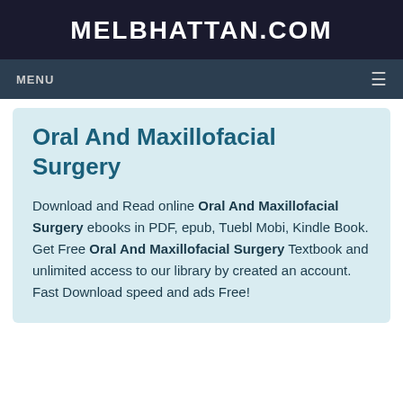MELBHATTAN.COM
MENU
Oral And Maxillofacial Surgery
Download and Read online Oral And Maxillofacial Surgery ebooks in PDF, epub, Tuebl Mobi, Kindle Book. Get Free Oral And Maxillofacial Surgery Textbook and unlimited access to our library by created an account. Fast Download speed and ads Free!